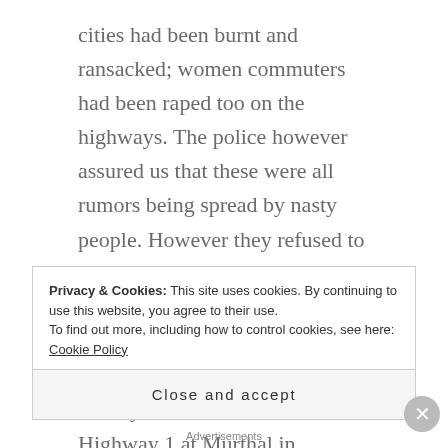cities had been burnt and ransacked; women commuters had been raped too on the highways. The police however assured us that these were all rumors being spread by nasty people. However they refused to die. Soon a newspaper, The Tribune, did a story on how women travellers coming to Delhi were dragged out of their cars by mobs on a National Highway 1 at Murthal in Sonepat district of Haryana and gang raped by mobs. That the paper reported this happened only about 2 hours from Delhi, near a very popular eating spot, made it more shocking. But the Haryana government
Privacy & Cookies: This site uses cookies. By continuing to use this website, you agree to their use. To find out more, including how to control cookies, see here: Cookie Policy
Close and accept
Advertisements